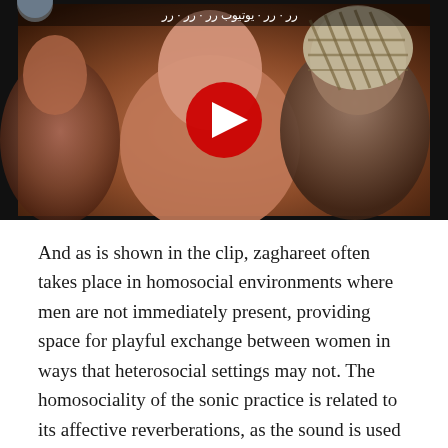[Figure (screenshot): YouTube video thumbnail showing women, one in center foreground and one wearing a patterned headscarf on the right, with Arabic text at the top and a YouTube play button overlay in the center. Dark background.]
And as is shown in the clip, zaghareet often takes place in homosocial environments where men are not immediately present, providing space for playful exchange between women in ways that heterosocial settings may not. The homosociality of the sonic practice is related to its affective reverberations, as the sound is used to convey bonds of attachment, conviviality and mutual appreciation between